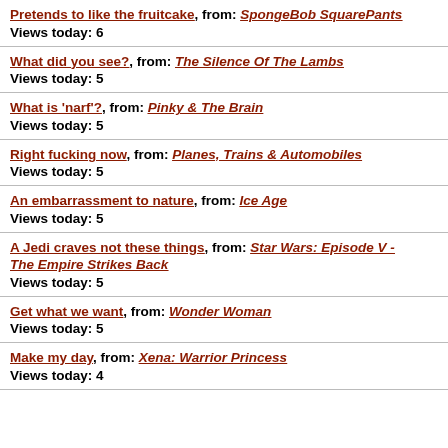Pretends to like the fruitcake, from: SpongeBob SquarePants
Views today: 6
What did you see?, from: The Silence Of The Lambs
Views today: 5
What is 'narf'?, from: Pinky & The Brain
Views today: 5
Right fucking now, from: Planes, Trains & Automobiles
Views today: 5
An embarrassment to nature, from: Ice Age
Views today: 5
A Jedi craves not these things, from: Star Wars: Episode V - The Empire Strikes Back
Views today: 5
Get what we want, from: Wonder Woman
Views today: 5
Make my day, from: Xena: Warrior Princess
Views today: 4